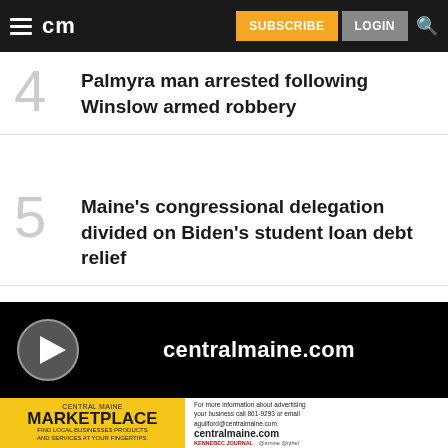cm | SUBSCRIBE | LOGIN
4 Palmyra man arrested following Winslow armed robbery
5 Maine's congressional delegation divided on Biden's student loan debt relief
[Figure (screenshot): Video player bar with play button and centralmaine.com text on black background]
[Figure (infographic): Central Maine Marketplace advertisement banner: yellow left side with CENTRAL MAINE MARKETPLACE FIND LOCAL BUSINESSES PRODUCTS AND SERVICES AT YOUR FINGERTIPS; white right side with contact info for advertising, aguilford@centralmaine.com, centralmaine.com, KENNEBEC JOURNAL logos]